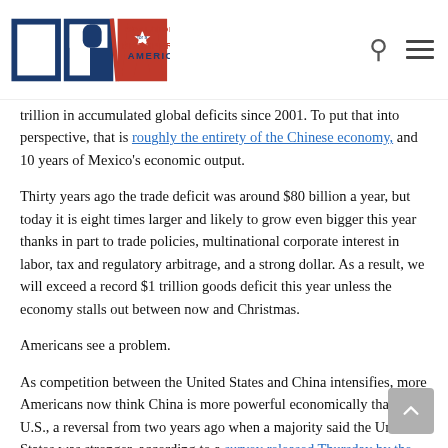Coalition for a Prosperous America
trillion in accumulated global deficits since 2001. To put that into perspective, that is roughly the entirety of the Chinese economy, and 10 years of Mexico's economic output.
Thirty years ago the trade deficit was around $80 billion a year, but today it is eight times larger and likely to grow even bigger this year thanks in part to trade policies, multinational corporate interest in labor, tax and regulatory arbitrage, and a strong dollar. As a result, we will exceed a record $1 trillion goods deficit this year unless the economy stalls out between now and Christmas.
Americans see a problem.
As competition between the United States and China intensifies, more Americans now think China is more powerful economically than the U.S., a reversal from two years ago when a majority said the United States was stronger, according to a survey released Thursday by the Chicago Council on Global Affairs.
“The important issue is not America’s annual global trade